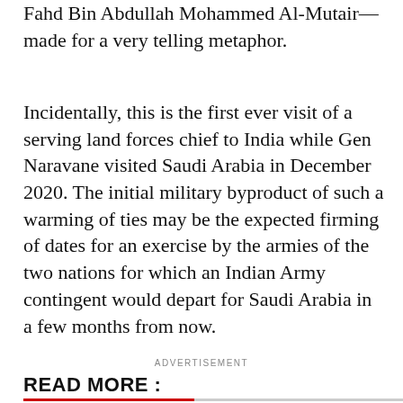Fahd Bin Abdullah Mohammed Al-Mutair—made for a very telling metaphor.
Incidentally, this is the first ever visit of a serving land forces chief to India while Gen Naravane visited Saudi Arabia in December 2020. The initial military byproduct of such a warming of ties may be the expected firming of dates for an exercise by the armies of the two nations for which an Indian Army contingent would depart for Saudi Arabia in a few months from now.
ADVERTISEMENT
READ MORE :
[Figure (photo): Dark image card on the bottom left, appears to be a news article thumbnail]
[Figure (photo): Dark image card on the bottom right with text overlay: 'In second assault in less than 10 days, two']